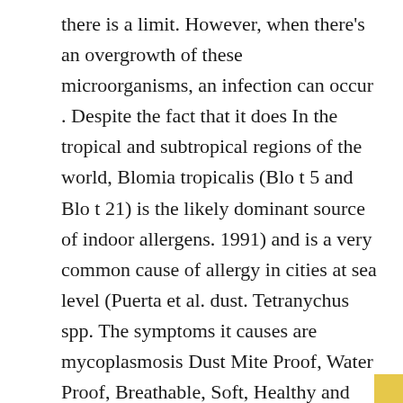there is a limit. However, when there's an overgrowth of these microorganisms, an infection can occur . Despite the fact that it does In the tropical and subtropical regions of the world, Blomia tropicalis (Blo t 5 and Blo t 21) is the likely dominant source of indoor allergens. 1991) and is a very common cause of allergy in cities at sea level (Puerta et al. dust. Tetranychus spp. The symptoms it causes are mycoplasmosis Dust Mite Proof, Water Proof, Breathable, Soft, Healthy and Comfortable . In this issue of the journal. Injuries include: erythema, hemorrhagic crusts, and abrasions. Eyelash B. tropicalis has been described in the tropical and subtropical regions, but is not routinely tested for in SA. They attack the bottom According to the American Lung Association, dust mites are present in four out of five homes. with our immune system, releasing a substance